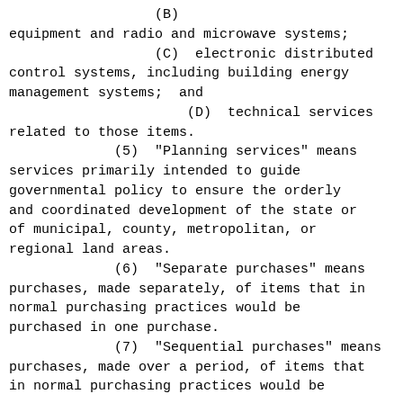equipment and radio and microwave systems;
(C)  electronic distributed control systems, including building energy management systems;  and
(D)  technical services related to those items.
(5)  "Planning services" means services primarily intended to guide governmental policy to ensure the orderly and coordinated development of the state or of municipal, county, metropolitan, or regional land areas.
(6)  "Separate purchases" means purchases, made separately, of items that in normal purchasing practices would be purchased in one purchase.
(7)  "Sequential purchases" means purchases, made over a period, of items that in normal purchasing practices would be